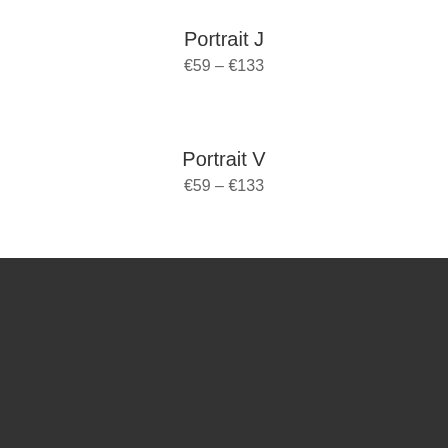Portrait J
€59 – €133
Portrait V
€59 – €133
We use cookies on our website to give you the most relevant experience by remembering your preferences and repeat visits. By clicking "Accept", you consent to the use of ALL the cookies.
Cookie Settings
Accept